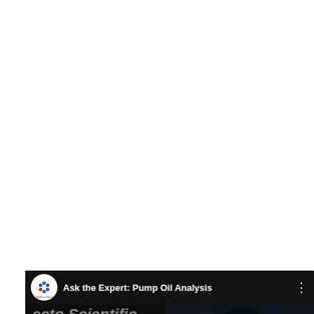[Figure (screenshot): YouTube video thumbnail for 'Ask the Expert: Pump Oil Analysis' by Spectro Scientific. Shows a dark overlay with green italic text 'Ask the Expert: Pump Oil' and 'Analysis' on the left, a red YouTube play button in the center, and a cartoon female scientist on the right with industrial pump machinery in the background. The top bar shows the channel logo and video title.]